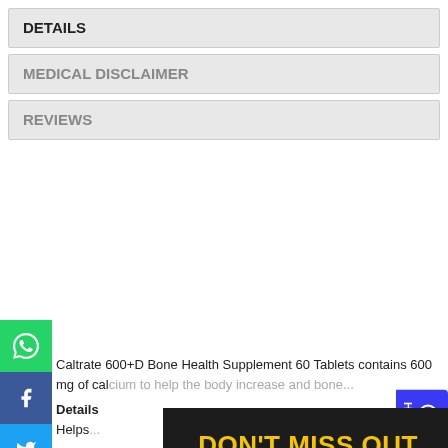DETAILS
MEDICAL DISCLAIMER
REVIEWS
Caltrate 600+D Bone Health Supplement 60 Tablets contains 600 mg of calcium to help the body increase and bone ...
Details
Helps...
Calcium...
calcium...
calcium...
important...
bones...
*1500...
**Acc...
March...
[Figure (infographic): DON'T MISS OUT modal popup. Dark background with yellow headline 'DON'T MISS OUT', white subtext 'Get 15% off your first order when you sign up', email address input field, and yellow 'GET 15% OFF' button.]